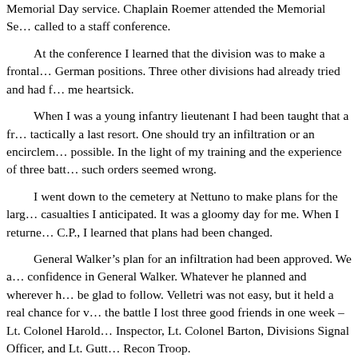Memorial Day service. Chaplain Roemer attended the Memorial Se... called to a staff conference. At the conference I learned that the division was to make a frontal... German positions. Three other divisions had already tried and had f... me heartsick. When I was a young infantry lieutenant I had been taught that a fr... tactically a last resort. One should try an infiltration or an encirclem... possible. In the light of my training and the experience of three batt... such orders seemed wrong. I went down to the cemetery at Nettuno to make plans for the larg... casualties I anticipated. It was a gloomy day for me. When I returne... C.P., I learned that plans had been changed. General Walker's plan for an infiltration had been approved. We a... confidence in General Walker. Whatever he planned and wherever h... be glad to follow. Velletri was not easy, but it held a real chance for v... the battle I lost three good friends in one week – Lt. Colonel Harold... Inspector, Lt. Colonel Barton, Divisions Signal Officer, and Lt. Gutt... Recon Troop. During this battle I became the target for a sniper. He missed me a... men went after him. They brought him in minus his rifle and his hel... out, "Kamerad". I did not feel very much like a comrade just then...